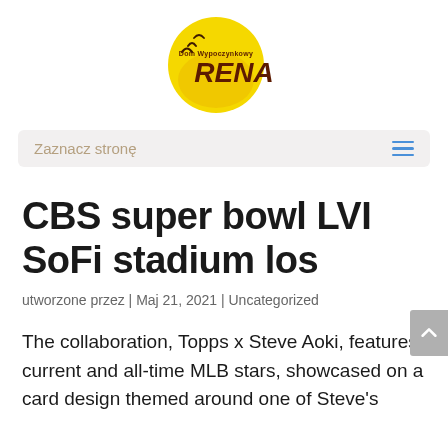[Figure (logo): Dom Wypoczynkowy RENA logo — yellow sun circle with birds silhouette and brown text 'Dom Wypoczynkowy RENA']
Zaznacz stronę
CBS super bowl LVI SoFi stadium los
utworzone przez | Maj 21, 2021 | Uncategorized
The collaboration, Topps x Steve Aoki, features current and all-time MLB stars, showcased on a card design themed around one of Steve's